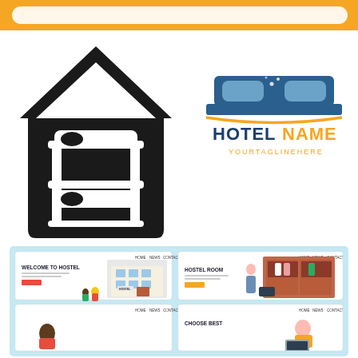[Figure (illustration): Orange top banner/header bar]
[Figure (logo): Black hostel icon: house silhouette with bunk bed inside]
[Figure (logo): Hotel name logo: blue bed headboard with pillows icon, orange swoosh line, text HOTEL NAME in blue and orange, YOURTAGLINEHERE in orange below]
[Figure (screenshot): 2x2 grid of website mockup screenshots showing hostel-related landing pages: Welcome to Hostel, Hostel Room, and two more partial views. Light blue background container.]